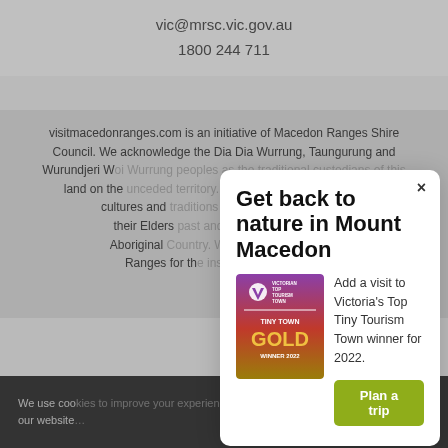vic@mrsc.vic.gov.au
1800 244 711
visitmacedonranges.com is an initiative of Macedon Ranges Shire Council. We acknowledge the Dia Dia Wurrung, Taungurung and Wurundjeri W… land on the … cultures and … their Elders … Aboriginal … Ranges for th…
We use coo… our website…
Get back to nature in Mount Macedon
Add a visit to Victoria's Top Tiny Tourism Town winner for 2022.
[Figure (logo): Victorian Top Tourism Town – Tiny Town Gold Winner 2022 badge/logo with purple-to-gold gradient background]
Plan a trip